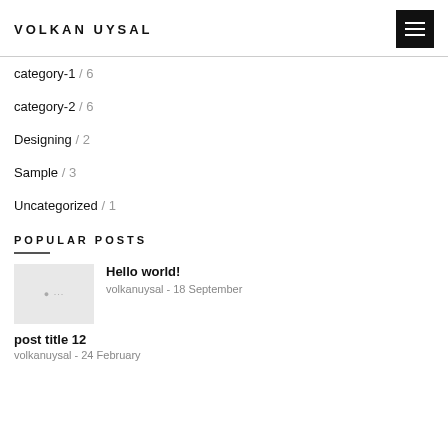VOLKAN UYSAL
category-1 / 6
category-2 / 6
Designing / 2
Sample / 3
Uncategorized / 1
POPULAR POSTS
Hello world!
volkanuysal - 18 September
post title 12
volkanuysal - 24 February